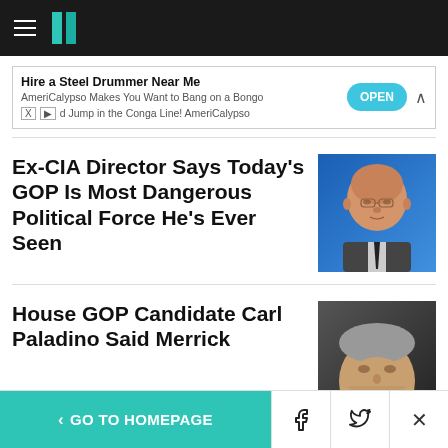HuffPost navigation bar with hamburger menu and logo
[Figure (screenshot): Ad banner: Hire a Steel Drummer Near Me — AmeriCalypso Makes You Want to Bang on a Bongo and Jump in the Conga Line! AmeriCalypso — OPEN button]
Ex-CIA Director Says Today's GOP Is Most Dangerous Political Force He's Ever Seen
[Figure (photo): Headshot of an older bald man with glasses, wearing a suit and tie, against a blue background]
House GOP Candidate Carl Paladino Said Merrick Garland Should Be Physically Eliminated
[Figure (photo): Partial headshot of a grey-haired man against a dark background]
< GO TO HOMEPAGE | Facebook | Twitter | X